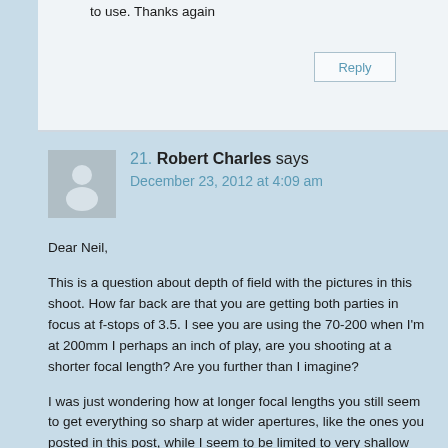to use. Thanks again
Reply
21.  Robert Charles says
December 23, 2012 at 4:09 am
Dear Neil,

This is a question about depth of field with the pictures in this shoot. How far back are that you are getting both parties in focus at f-stops of 3.5. I see you are using the 70-200 when I'm at 200mm I perhaps an inch of play, are you shooting at a shorter focal length? Are you further than I imagine?

I was just wondering how at longer focal lengths you still seem to get everything so sharp at wider apertures, like the ones you posted in this post, while I seem to be limited to very shallow depth of fields when racked out to 200mm,